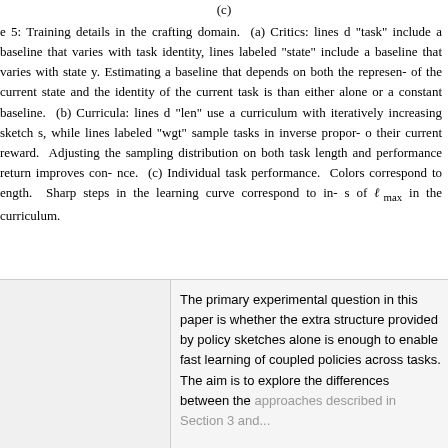(c) Training details in the crafting domain. (a) Critics: lines labeled "task" include a baseline that varies with task identity, lines labeled "state" include a baseline that varies with state. Estimating a baseline that depends on both the representation of the current state and the identity of the current task is better than either alone or a constant baseline. (b) Curricula: lines labeled "len" use a curriculum with iteratively increasing sketch lengths, while lines labeled "wgt" sample tasks in inverse proportion to their current reward. Adjusting the sampling distribution based on both task length and performance return improves convergence. (c) Individual task performance. Colors correspond to task length. Sharp steps in the learning curve correspond to increases of ℓ_max in the curriculum.
The primary experimental question in this paper is whether the extra structure provided by policy sketches alone is enough to enable fast learning of coupled policies across tasks. The aim is to explore the differences between the approaches described in Section 3 and...